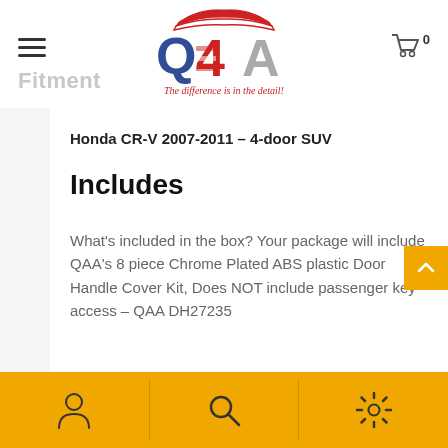[Figure (logo): QAA logo with American flag design and red car silhouette, tagline 'The difference is in the detail!']
Fitment
Honda CR-V 2007-2011 - 4-door SUV
Includes
What's included in the box? Your package will include QAA's 8 piece Chrome Plated ABS plastic Door Handle Cover Kit, Does NOT include passenger key access - QAA DH27235